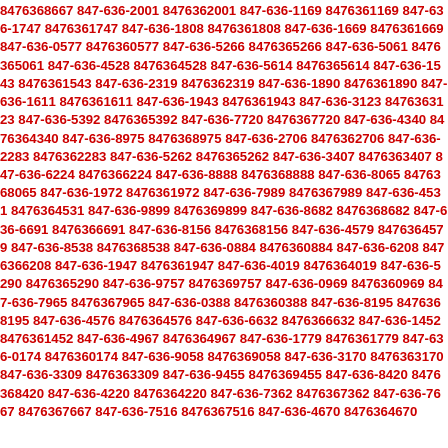8476368667 847-636-2001 8476362001 847-636-1169 8476361169 847-636-1747 8476361747 847-636-1808 8476361808 847-636-1669 8476361669 847-636-0577 8476360577 847-636-5266 8476365266 847-636-5061 8476365061 847-636-4528 8476364528 847-636-5614 8476365614 847-636-1543 8476361543 847-636-2319 8476362319 847-636-1890 8476361890 847-636-1611 8476361611 847-636-1943 8476361943 847-636-3123 8476363123 847-636-5392 8476365392 847-636-7720 8476367720 847-636-4340 8476364340 847-636-8975 8476368975 847-636-2706 8476362706 847-636-2283 8476362283 847-636-5262 8476365262 847-636-3407 8476363407 847-636-6224 8476366224 847-636-8888 8476368888 847-636-8065 8476368065 847-636-1972 8476361972 847-636-7989 8476367989 847-636-4531 8476364531 847-636-9899 8476369899 847-636-8682 8476368682 847-636-6691 8476366691 847-636-8156 8476368156 847-636-4579 8476364579 847-636-8538 8476368538 847-636-0884 8476360884 847-636-6208 8476366208 847-636-1947 8476361947 847-636-4019 8476364019 847-636-5290 8476365290 847-636-9757 8476369757 847-636-0969 8476360969 847-636-7965 8476367965 847-636-0388 8476360388 847-636-8195 8476368195 847-636-4576 8476364576 847-636-6632 8476366632 847-636-1452 8476361452 847-636-4967 8476364967 847-636-1779 8476361779 847-636-0174 8476360174 847-636-9058 8476369058 847-636-3170 8476363170 847-636-3309 8476363309 847-636-9455 8476369455 847-636-8420 8476368420 847-636-4220 8476364220 847-636-7362 8476367362 847-636-7667 8476367667 847-636-7516 8476367516 847-636-4670 8476364670